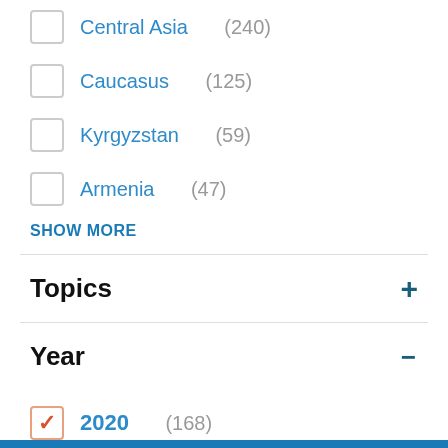Central Asia (240)
Caucasus (125)
Kyrgyzstan (59)
Armenia (47)
SHOW MORE
Topics +
Year −
2020 (168)